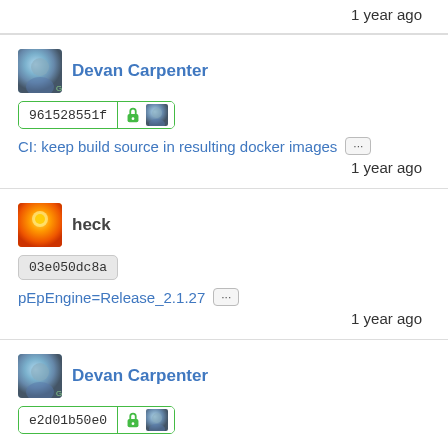1 year ago
Devan Carpenter
961528551f
CI: keep build source in resulting docker images
1 year ago
heck
03e050dc8a
pEpEngine=Release_2.1.27
1 year ago
Devan Carpenter
e2d01b50e0